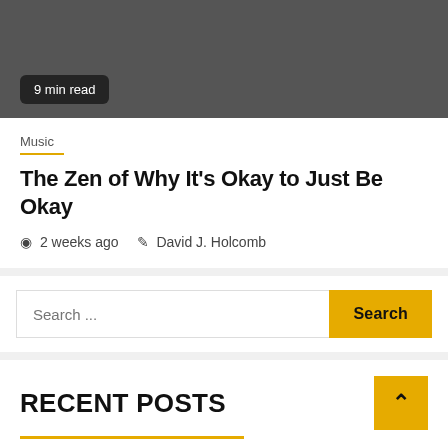[Figure (photo): Dark gray rectangular image area with a '9 min read' badge in bottom left]
9 min read
Music
The Zen of Why It's Okay to Just Be Okay
2 weeks ago   David J. Holcomb
Search ...
RECENT POSTS
Build Customer Trust In Digital Equipment Shops So Easier
& Wildlife Activist...